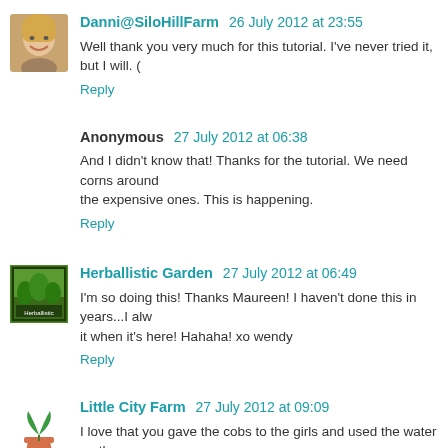[Figure (photo): Avatar photo of a smiling woman with blonde hair]
Danni@SiloHillFarm 26 July 2012 at 23:55
Well thank you very much for this tutorial. I've never tried it, but I will. (
Reply
Anonymous 27 July 2012 at 06:38
And I didn't know that! Thanks for the tutorial. We need corns around the expensive ones. This is happening.
Reply
[Figure (photo): Avatar image for Herballistic Garden, green garden themed icon]
Herballistic Garden 27 July 2012 at 06:49
I'm so doing this! Thanks Maureen! I haven't done this in years...I alw it when it's here! Hahaha! xo wendy
Reply
[Figure (illustration): Avatar icon showing a small plant in a pot (Little City Farm logo)]
Little City Farm 27 July 2012 at 09:09
I love that you gave the cobs to the girls and used the water on the ga
Reply